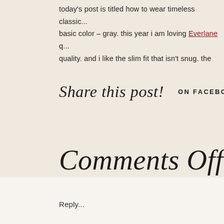today's post is titled how to wear timeless classic... basic color – gray. this year i am loving Everlane q... quality. and i like the slim fit that isn't snug. the
Share this post! —— ON FACEBOOK
Comments Off
Reply...